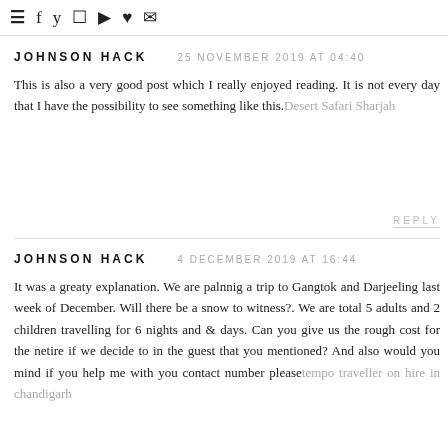≡  f  y  ☐  ▶  ♥  ✉
JOHNSON HACK    25 NOVEMBER 2019 AT 04:40
This is also a very good post which I really enjoyed reading. It is not every day that I have the possibility to see something like this. Desert Safari Sharjah
REPLY
JOHNSON HACK    4 DECEMBER 2019 AT 16:44
It was a greaty explanation. We are palnnig a trip to Gangtok and Darjeeling last week of December. Will there be a snow to witness?. We are total 5 adults and 2 children travelling for 6 nights and & days. Can you give us the rough cost for the netire if we decide to in the guest that you mentioned? And also would you mind if you help me with you contact number please tempo traveller on hire in chandigarh